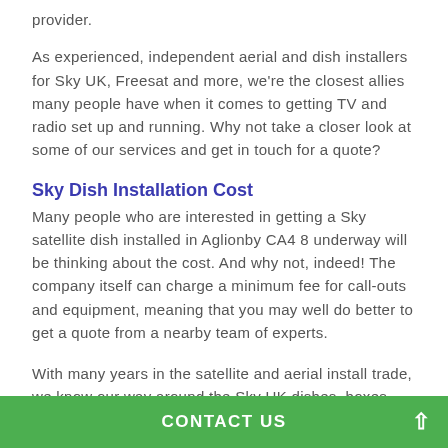provider.
As experienced, independent aerial and dish installers for Sky UK, Freesat and more, we're the closest allies many people have when it comes to getting TV and radio set up and running. Why not take a closer look at some of our services and get in touch for a quote?
Sky Dish Installation Cost
Many people who are interested in getting a Sky satellite dish installed in Aglionby CA4 8 underway will be thinking about the cost. And why not, indeed! The company itself can charge a minimum fee for call-outs and equipment, meaning that you may well do better to get a quote from a nearby team of experts.
With many years in the satellite and aerial install trade, we know our way around the Sky UK dishes, boxes and equipment. Whether you need a new dish put up or need a
CONTACT US